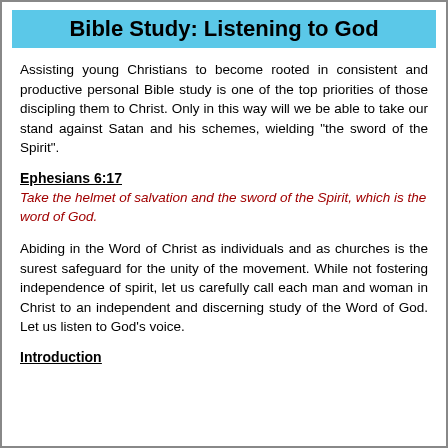Bible Study: Listening to God
Assisting young Christians to become rooted in consistent and productive personal Bible study is one of the top priorities of those discipling them to Christ. Only in this way will we be able to take our stand against Satan and his schemes, wielding "the sword of the Spirit".
Ephesians 6:17
Take the helmet of salvation and the sword of the Spirit, which is the word of God.
Abiding in the Word of Christ as individuals and as churches is the surest safeguard for the unity of the movement. While not fostering independence of spirit, let us carefully call each man and woman in Christ to an independent and discerning study of the Word of God. Let us listen to God's voice.
Introduction